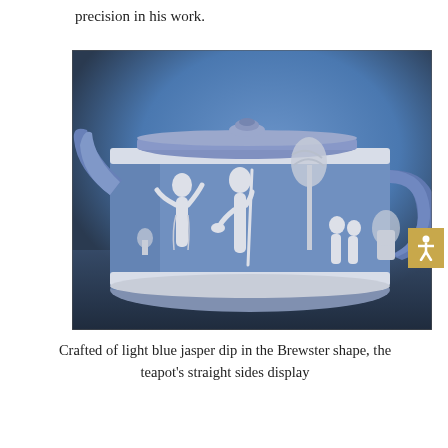precision in his work.
[Figure (photo): A Wedgwood light blue jasper dip teapot in the Brewster shape, decorated with white relief classical figures including robed women, children, and trees, against a gradient blue-grey background.]
Crafted of light blue jasper dip in the Brewster shape, the teapot's straight sides display